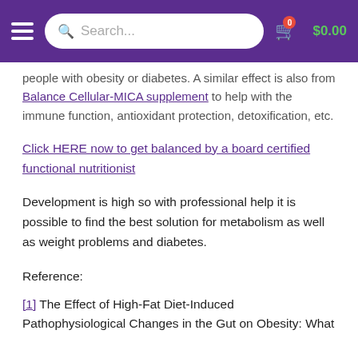Search... $0.00
people with obesity or diabetes. A similar effect is also from Balance Cellular-MICA supplement to help with the immune function, antioxidant protection, detoxification, etc.
Click HERE now to get balanced by a board certified functional nutritionist
Development is high so with professional help it is possible to find the best solution for metabolism as well as weight problems and diabetes.
Reference:
[1] The Effect of High-Fat Diet-Induced Pathophysiological Changes in the Gut on Obesity: What